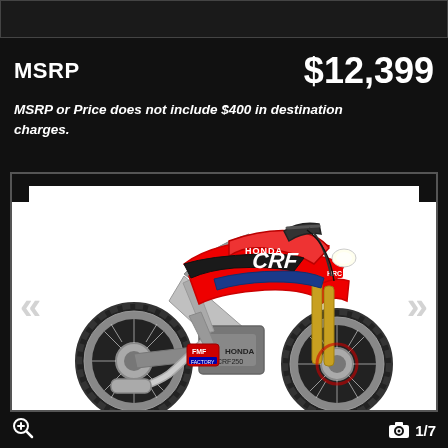MSRP
$12,399
MSRP or Price does not include $400 in destination charges.
[Figure (photo): Honda CRF dirt bike / motocross motorcycle in red with blue accents, white background, shown from the right side. Image 1 of 7.]
1/7